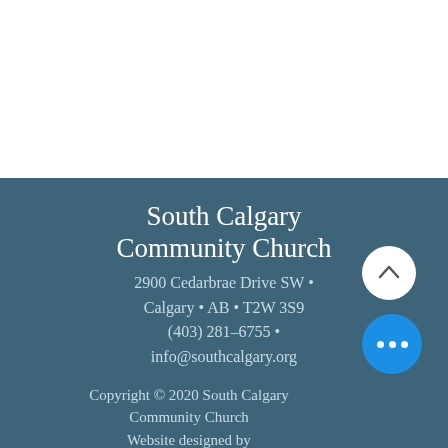South Calgary Community Church
2900 Cedarbrae Drive SW • Calgary • AB • T2W 3S9 (403) 281-6755 • info@southcalgary.org
Copyright © 2020 South Calgary Community Church Website designed by Samuel Medeiros.
LINKS